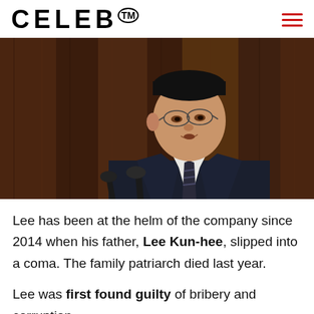CELEB™
[Figure (photo): A man in a dark suit and striped tie speaking at a podium with microphones, photographed against a dark wood-paneled background.]
Lee has been at the helm of the company since 2014 when his father, Lee Kun-hee, slipped into a coma. The family patriarch died last year.
Lee was first found guilty of bribery and corruption